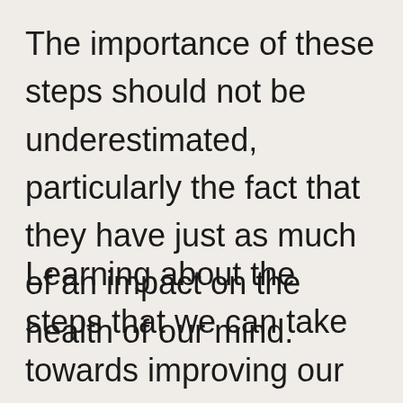The importance of these steps should not be underestimated, particularly the fact that they have just as much of an impact on the health of our mind.
Learning about the steps that we can take towards improving our mental health and wellbeing is the foundation for a healthier future for us and then where possible sharing this information with those around